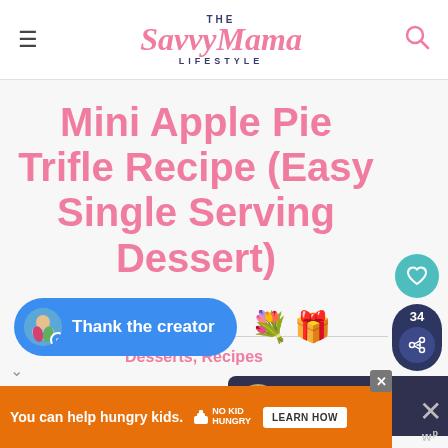THE SavvyMama LIFESTYLE
Mini Apple Pie Trifle Recipe (Easy Single Serving Dessert)
Desserts, Recipes
[Figure (other): Social share sidebar with heart/favorite button (teal circle) and share count 34 with share icon (dark blue)]
[Figure (other): What's Next panel showing thumbnail and text 'Easy 4-Ingredient...']
[Figure (other): Thank the creator blue button with avatar, flower and gift emoji icons]
[Figure (other): Ad banner: You can help hungry kids. No Kid Hungry logo. LEARN HOW button.]